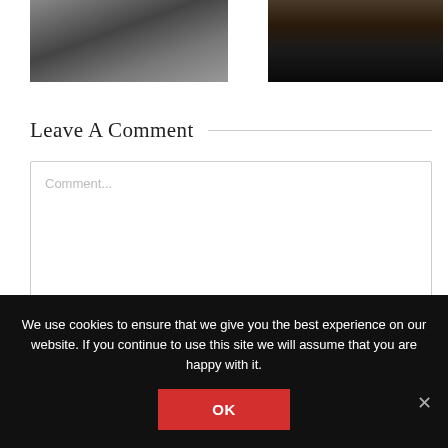[Figure (photo): Grayscale landscape or terrain photo on the left]
[Figure (photo): Dark portrait photo of a person on the right]
Leave A Comment
Comment...
We use cookies to ensure that we give you the best experience on our website. If you continue to use this site we will assume that you are happy with it.
OK